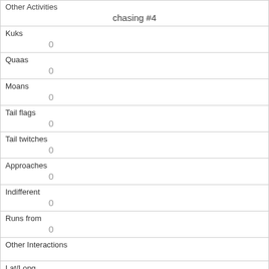| Other Activities | chasing #4 |
| Kuks | 0 |
| Quaas | 0 |
| Moans | 0 |
| Tail flags | 0 |
| Tail twitches | 0 |
| Approaches | 0 |
| Indifferent | 0 |
| Runs from | 0 |
| Other Interactions |  |
| Lat/Long |  |